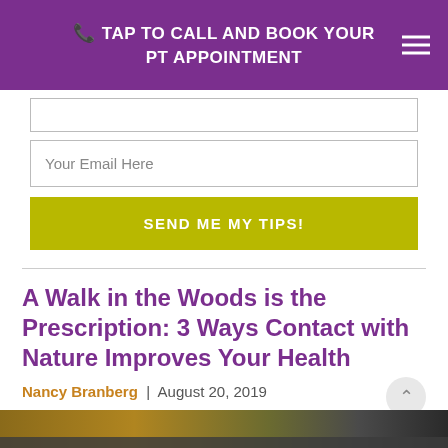TAP TO CALL AND BOOK YOUR PT APPOINTMENT
Your Email Here
SEND ME MY TIPS!
A Walk in the Woods is the Prescription: 3 Ways Contact with Nature Improves Your Health
Nancy Branberg | August 20, 2019
[Figure (photo): Photo of a person walking outdoors in autumn foliage]
Share This